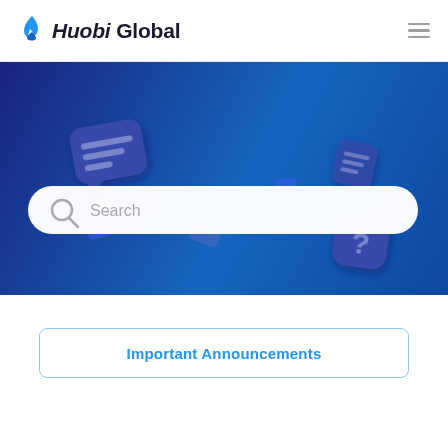Huobi Global
[Figure (screenshot): Huobi Global help center hero banner with dark blue background, floating 3D icons (chat bubble, question mark, document icons), and a search bar with placeholder text 'Search']
Important Announcements